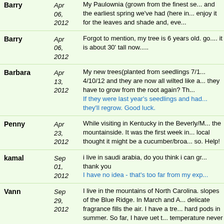Barry | Apr 06, 2012 | My Paulownia (grown from the finest se... and the earliest spring we've had (here in... enjoy it for the leaves and shade and, eve...
Barry | Apr 06, 2012 | Forgot to mention, my tree is 6 years old. go.... it is about 30' tall now.....
Barbara | Apr 13, 2012 | My new trees(planted from seedlings 7/1... 4/10/12 and they are now all wilted like a... they have to grow from the root again? Th... If they were last year's seedlings and had... they'll regrow. Good luck.
Penny | Apr 23, 2012 | While visiting in Kentucky in the Beverly/M... the mountainside. It was the first week in... local thought it might be a cucumber/broa... so. Help!
kamal | Sep 01, 2012 | i live in saudi arabia, do you think i can gr... thank you | I have no idea - that's too far from my exp...
Vann | Sep 29, 2012 | I live in the mountains of North Carolina. slopes of the Blue Ridge. In March and A... delicate fragrance fills the air. I have a tre... hard pods in summer. So far, I have uet t... temperature never reaches "0" F here, an... freeze. Last April, there was a late frost...